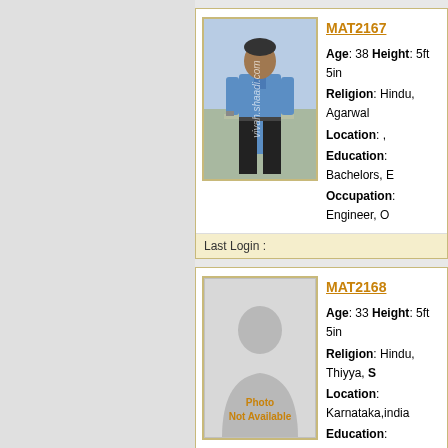MAT2167
Age: 38 Height: 5ft 5in
Religion: Hindu, Agarwal
Location: ,
Education: Bachelors, E
Occupation: Engineer, O
Last Login :
[Figure (photo): Photo of a man in blue shirt and black trousers standing outdoors with watermark text]
MAT2168
Age: 33 Height: 5ft 5in
Religion: Hindu, Thiyya, S
Location: Karnataka,india
Education: Bachelors, Adv
Occupation: Advertising P
Last Login :
[Figure (photo): Photo Not Available placeholder with silhouette icon]